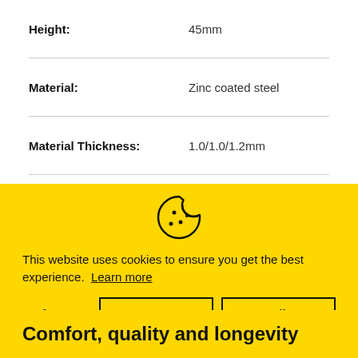| Property | Value |
| --- | --- |
| Height: | 45mm |
| Material: | Zinc coated steel |
| Material Thickness: | 1.0/1.0/1.2mm |
| Max Weight: | 45kg |
| Additional Mechanism: | Rubber brake |
[Figure (illustration): Cookie icon (cookie with bite taken out)]
This website uses cookies to ensure you get the best experience. Learn more
Preferences  Accept  Decline
Comfort, quality and longevity